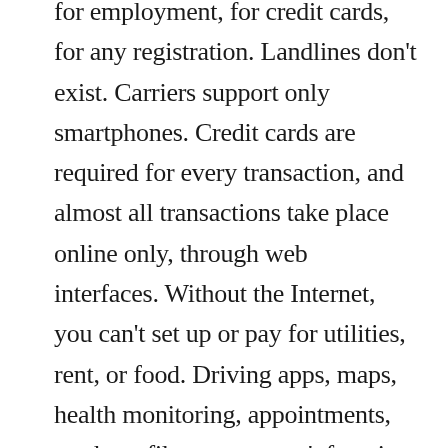for employment, for credit cards, for any registration. Landlines don't exist. Carriers support only smartphones. Credit cards are required for every transaction, and almost all transactions take place online only, through web interfaces. Without the Internet, you can't set up or pay for utilities, rent, or food. Driving apps, maps, health monitoring, appointments, work profiles — you can't function in society without being fully connected and hooked in. You need the devices to function, but they also influence how you function.